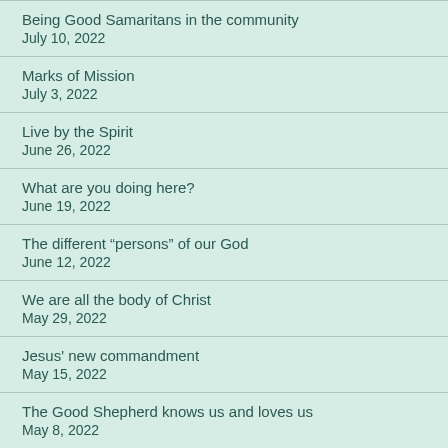Being Good Samaritans in the community
July 10, 2022
Marks of Mission
July 3, 2022
Live by the Spirit
June 26, 2022
What are you doing here?
June 19, 2022
The different “persons” of our God
June 12, 2022
We are all the body of Christ
May 29, 2022
Jesus' new commandment
May 15, 2022
The Good Shepherd knows us and loves us
May 8, 2022
How did you come to relationship with the Risen Jesus?